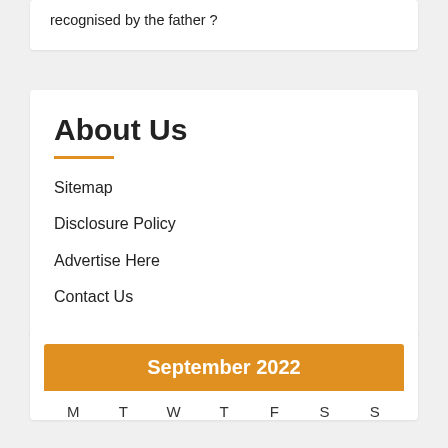recognised by the father ?
About Us
Sitemap
Disclosure Policy
Advertise Here
Contact Us
| M | T | W | T | F | S | S |
| --- | --- | --- | --- | --- | --- | --- |